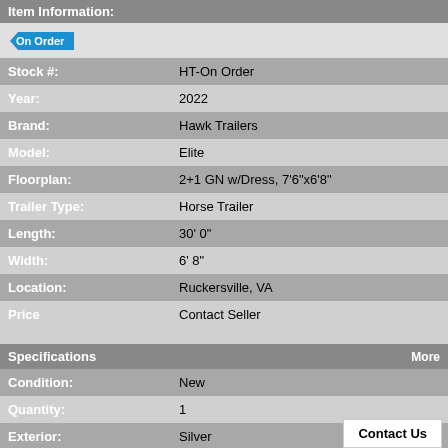Item Information:
[Figure (other): On Order badge/label in blue]
| Field | Value |
| --- | --- |
| Stock #: | HT-On Order |
| Year: | 2022 |
| Brand: | Hawk Trailers |
| Model: | Elite |
| Floorplan: | 2+1 GN w/Dress, 7'6"x6'8" |
| Trailer Type: | Horse Trailer |
| Length: | 30' 0" |
| Width: | 6' 8" |
| Location: | Ruckersville, VA |
| Price | Contact Seller |
Specifications   More
| Field | Value |
| --- | --- |
| Condition: | New |
| Quantity: | 1 |
| Exterior: | Silver |